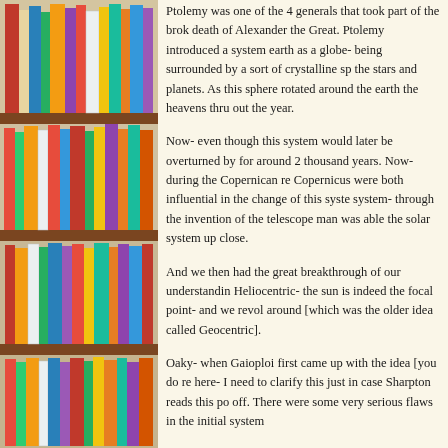[Figure (photo): Photograph of colorful books arranged on wooden bookshelves, viewed from the side. Multiple shelves visible with spines of various colors including red, green, yellow, blue, white.]
Ptolemy was one of the 4 generals that took part of the brok death of Alexander the Great. Ptolemy introduced a system earth as a globe- being surrounded by a sort of crystalline sp the stars and planets. As this sphere rotated around the earth the heavens thru out the year.
Now- even though this system would later be overturned by for around 2 thousand years. Now- during the Copernican re Copernicus were both influential in the change of this syste system- through the invention of the telescope man was able the solar system up close.
And we then had the great breakthrough of our understandin Heliocentric- the sun is indeed the focal point- and we revol around [which was the older idea called Geocentric].
Oaky- when Gaioploi first came up with the idea [you do re here- I need to clarify this just in case Sharpton reads this po off. There were some very serious flaws in the initial system
Other scientists critiqued the plan and found these flaws- ye 'voted down' Galeyoo.